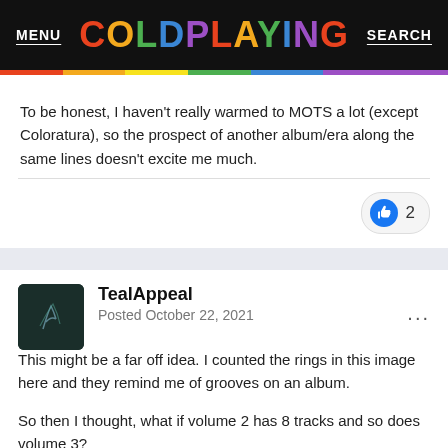MENU  COLDPLAYING  SEARCH
To be honest, I haven't really warmed to MOTS a lot (except Coloratura), so the prospect of another album/era along the same lines doesn't excite me much.
[Figure (infographic): Like button showing thumbs up icon with count of 2]
TealAppeal
Posted October 22, 2021
This might be a far off idea. I counted the rings in this image here and they remind me of grooves on an album.

So then I thought, what if volume 2 has 8 tracks and so does volume 3?